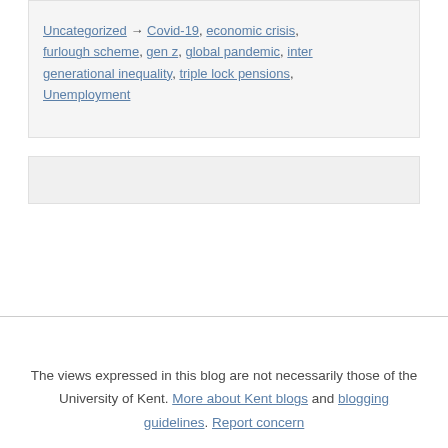Uncategorized → Covid-19, economic crisis, furlough scheme, gen z, global pandemic, inter generational inequality, triple lock pensions, Unemployment
The views expressed in this blog are not necessarily those of the University of Kent. More about Kent blogs and blogging guidelines. Report concern